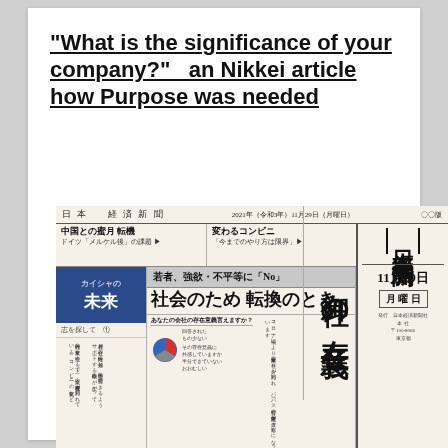“What is the significance of your company?”   an Nikkei article how Purpose was needed
[Figure (photo): Photo of the Nikkei (Nihon Keizai Shimbun) newspaper front page dated 2021年（令和3年）11月29日（月曜日）, featuring headlines about the significance of companies to society (御社の存在意義), 社会のため 転換のとき, 若者、強欲・不平等に「No」, and a 日本経済新聞 logo on the right side with date 11月29日 月曜日.]